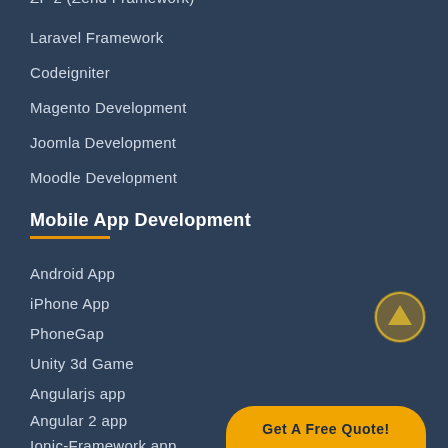ZF 2 (Zend Framework)
Laravel Framework
Codeigniter
Magento Development
Joomla Development
Moodle Development
Mobile App Development
Android App
iPhone App
PhoneGap
Unity 3d Game
Angularjs app
Angular 2 app
Ionic-Framework app
Get A Free Quote!